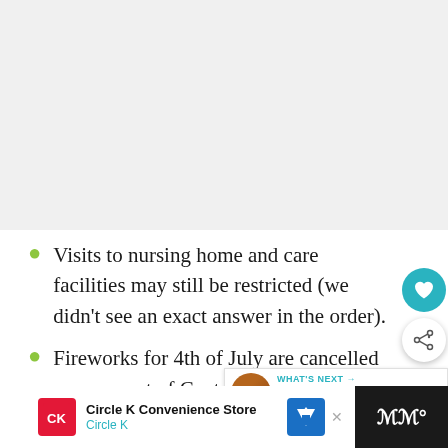[Figure (screenshot): Large empty/white space at top of page, likely an ad or media placeholder]
Visits to nursing home and care facilities may still be restricted (we didn't see an exact answer in the order).
Fireworks for 4th of July are cancelled across most of Central Ohio, including Red, White, and Boom
[Figure (screenshot): Circle K Convenience Store advertisement banner at bottom of page with navigation icon]
[Figure (infographic): What's Next panel showing The Ohio Eggfest... thumbnail with teal header]